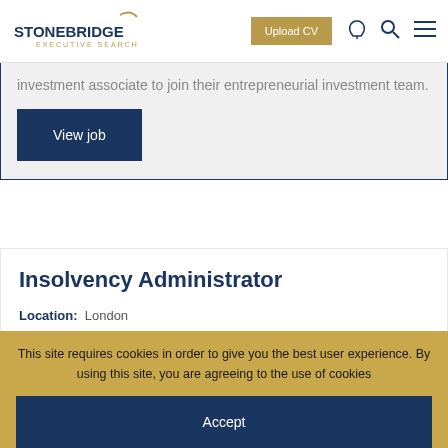[Figure (logo): Stonebridge Executive Search logo with arc graphic]
Upload CV
investment associate to join their entrepreneurial investment team.
View job
Insolvency Administrator
Location: London
Salary: £30,000 – £40,000 pa
Type: Permanent
Our client is a prestigious, market-leading accounting
This site requires cookies in order to give you the best user experience. By using this site, you are agreeing to the use of cookies
Accept